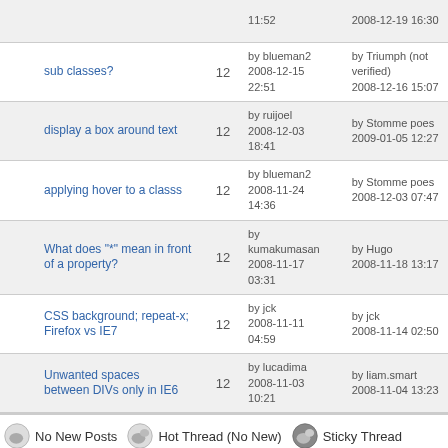| Topic | Replies | Last Post by / Date | Last Reply |
| --- | --- | --- | --- |
| sub classes? | 12 | by blueman2 2008-12-15 22:51 | by Triumph (not verified) 2008-12-16 15:07 |
| display a box around text | 12 | by ruijoel 2008-12-03 18:41 | by Stomme poes 2009-01-05 12:27 |
| applying hover to a classs | 12 | by blueman2 2008-11-24 14:36 | by Stomme poes 2008-12-03 07:47 |
| What does "*" mean in front of a property? | 12 | by kumakumasan 2008-11-17 03:31 | by Hugo 2008-11-18 13:17 |
| CSS background; repeat-x; Firefox vs IE7 | 12 | by jck 2008-11-11 04:59 | by jck 2008-11-14 02:50 |
| Unwanted spaces between DIVs only in IE6 | 12 | by lucadima 2008-11-03 10:21 | by liam.smart 2008-11-04 13:23 |
No New Posts
Hot Thread (No New)
Sticky Thread
New Posts
Hot Thread (New)
Locked Thread